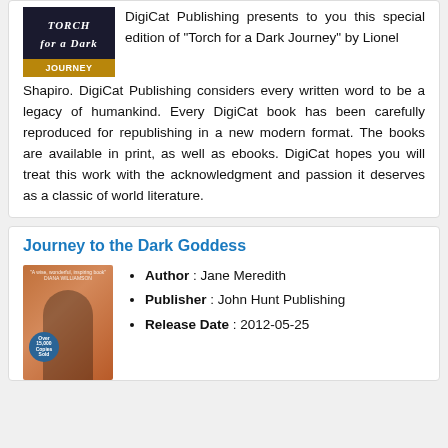DigiCat Publishing presents to you this special edition of "Torch for a Dark Journey" by Lionel Shapiro. DigiCat Publishing considers every written word to be a legacy of humankind. Every DigiCat book has been carefully reproduced for republishing in a new modern format. The books are available in print, as well as ebooks. DigiCat hopes you will treat this work with the acknowledgment and passion it deserves as a classic of world literature.
Journey to the Dark Goddess
[Figure (illustration): Book cover of 'Journey to the Dark Goddess' showing a person with dark hair viewed from behind against a warm background]
Author : Jane Meredith
Publisher : John Hunt Publishing
Release Date : 2012-05-25